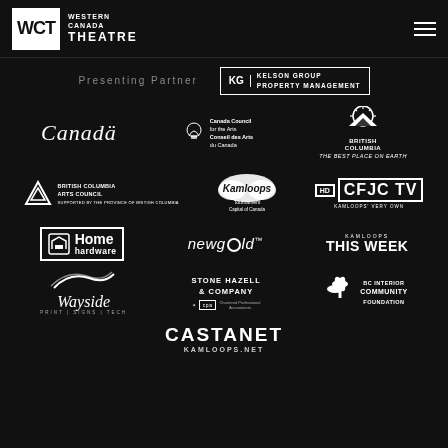WCT Western Canada Theatre
Presenting Partner
[Figure (logo): Kelson Group Property Management logo]
[Figure (logo): Canada wordmark logo]
[Figure (logo): Canada Council for the Arts / Conseil des Arts du Canada logo]
[Figure (logo): British Columbia - The Best Place on Earth logo]
[Figure (logo): British Columbia Arts Council logo]
[Figure (logo): Kamloops Tournament Capital of Canada logo]
[Figure (logo): CFJC TV Kamloops' Very Own logo]
[Figure (logo): Home Hardware logo]
[Figure (logo): Newgold logo]
[Figure (logo): Kamloops This Week logo]
[Figure (logo): Wayside Print Signs Tech logo]
[Figure (logo): Stone Hazell & Company CPA logo]
[Figure (logo): BC Interior Community Foundation logo]
[Figure (logo): Castanet Kamloops.net logo]